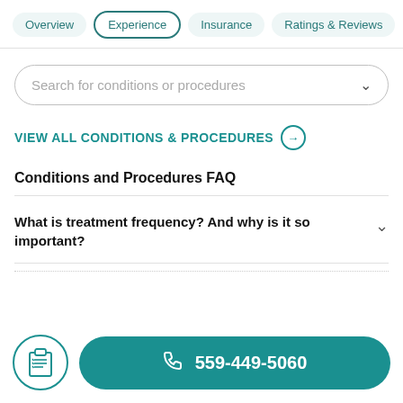Overview | Experience | Insurance | Ratings & Reviews
Search for conditions or procedures
VIEW ALL CONDITIONS & PROCEDURES →
Conditions and Procedures FAQ
What is treatment frequency? And why is it so important?
559-449-5060